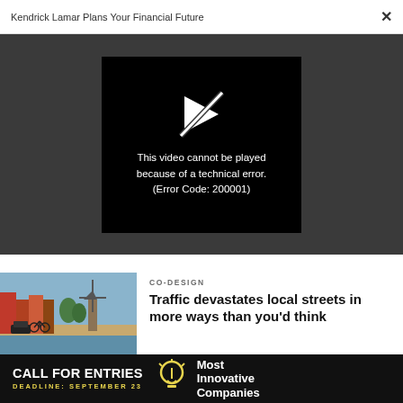Kendrick Lamar Plans Your Financial Future
[Figure (screenshot): Video player showing error: 'This video cannot be played because of a technical error. (Error Code: 200001)' on a dark gray background with a broken play button icon.]
CO-DESIGN
Traffic devastates local streets in more ways than you'd think
[Figure (photo): Street scene in a Dutch city with a canal, windmill in background, bicyclists and parked cars.]
[Figure (infographic): Ad banner: CALL FOR ENTRIES, DEADLINE: SEPTEMBER 23, Most Innovative Companies, with a lightbulb icon.]